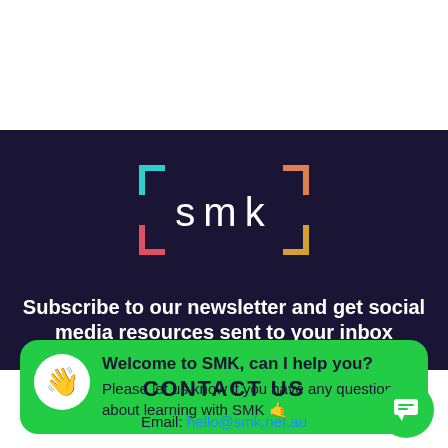[Figure (logo): SMK logo: bracket corners in teal and orange surrounding lowercase letters 's m k' in white on dark navy background]
Subscribe to our newsletter and get social media resources sent to your inbox
[Figure (screenshot): Green chat bubble widget: 'Welcome to SMK, can I help you?' with sub-text 'Please let us know if you have any questions about learning with SMK 🤙']
CONTACT US
Email: hello@smk.net.au
[Figure (infographic): Green circular chat button icon in bottom right corner]